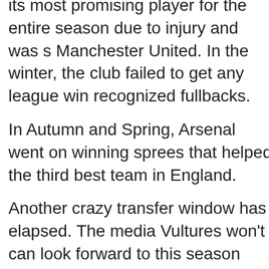its most promising player for the entire season due to injury and was s… Manchester United. In the winter, the club failed to get any league win… recognized fullbacks.
In Autumn and Spring, Arsenal went on winning sprees that helped the… third best team in England.
Another crazy transfer window has elapsed. The media Vultures won't… can look forward to this season with renewed optimism.
After all that speculation, it was much ado about nothing.
Sayonara.
You can download the Gooner Daily BlackBerry App to receive notifica… Phone when a post is published.
You can follow Gooner Daily on Twitter @goonerdaily. I'll follow back…
Feel free to visit Gooner Daily's Facebook page and click on the like b…
You can also join Gooner Daily's Mailing List to get notifications of new… on the Follow button